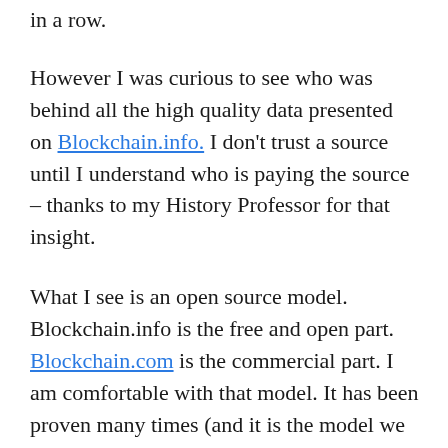in a row.
However I was curious to see who was behind all the high quality data presented on Blockchain.info. I don't trust a source until I understand who is paying the source – thanks to my History Professor for that insight.
What I see is an open source model. Blockchain.info is the free and open part. Blockchain.com is the commercial part. I am comfortable with that model. It has been proven many times (and it is the model we use at Daily Fintech – free content plus paid